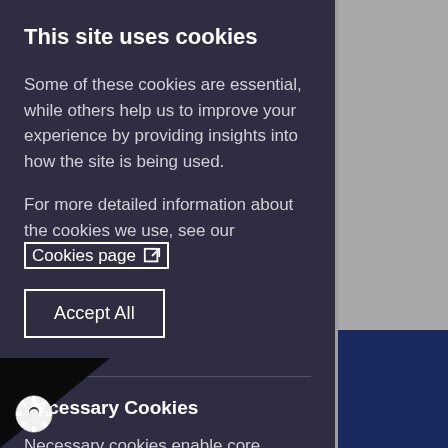This site uses cookies
Some of these cookies are essential, while others help us to improve your experience by providing insights into how the site is being used.
For more detailed information about the cookies we use, see our Cookies page
Accept All
Necessary Cookies
Necessary cookies enable core functionality. The site cannot function properly without these and can only be disabled by changing